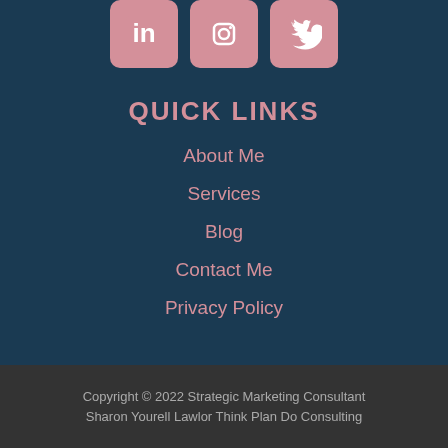[Figure (illustration): Three social media icon buttons (LinkedIn, Instagram, Twitter) with pink/rose background rounded square buttons]
QUICK LINKS
About Me
Services
Blog
Contact Me
Privacy Policy
Copyright © 2022 Strategic Marketing Consultant Sharon Yourell Lawlor Think Plan Do Consulting